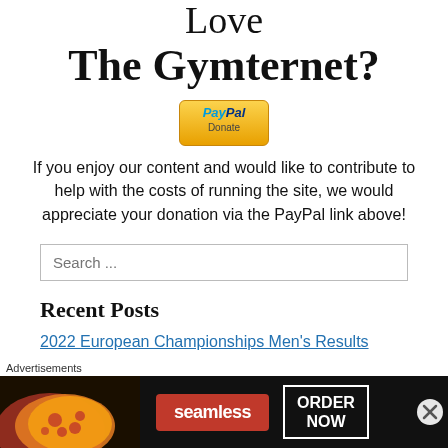Love The Gymternet?
[Figure (logo): PayPal Donate button with gold gradient background]
If you enjoy our content and would like to contribute to help with the costs of running the site, we would appreciate your donation via the PayPal link above!
Search ...
Recent Posts
2022 European Championships Men's Results
Advertisements
[Figure (screenshot): Seamless food delivery advertisement with pizza image, Seamless logo button in red, and ORDER NOW button in white border]